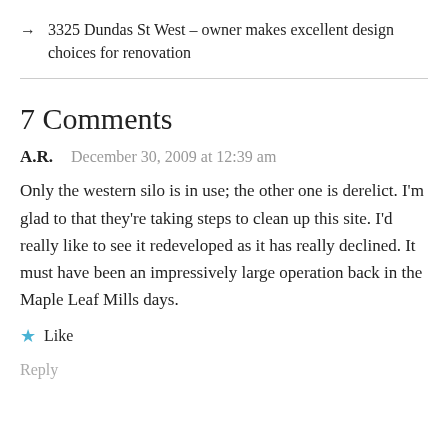→  3325 Dundas St West – owner makes excellent design choices for renovation
7 Comments
A.R.    December 30, 2009 at 12:39 am
Only the western silo is in use; the other one is derelict. I'm glad to that they're taking steps to clean up this site. I'd really like to see it redeveloped as it has really declined. It must have been an impressively large operation back in the Maple Leaf Mills days.
★ Like
Reply